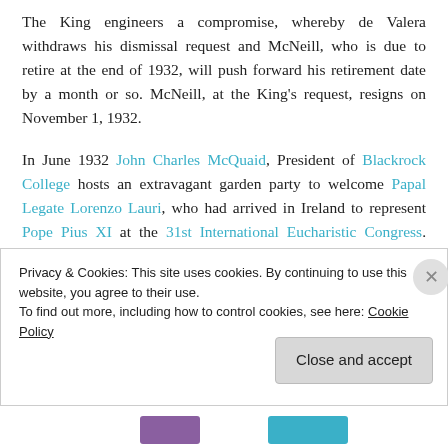The King engineers a compromise, whereby de Valera withdraws his dismissal request and McNeill, who is due to retire at the end of 1932, will push forward his retirement date by a month or so. McNeill, at the King's request, resigns on November 1, 1932.
In June 1932 John Charles McQuaid, President of Blackrock College hosts an extravagant garden party to welcome Papal Legate Lorenzo Lauri, who had arrived in Ireland to represent Pope Pius XI at the 31st International Eucharistic Congress. While de Valera maintains a very high profile at the event, McQuaid, at de Valera's request, goes to great lengths to avoid MacNeill to the extent
Privacy & Cookies: This site uses cookies. By continuing to use this website, you agree to their use.
To find out more, including how to control cookies, see here: Cookie Policy